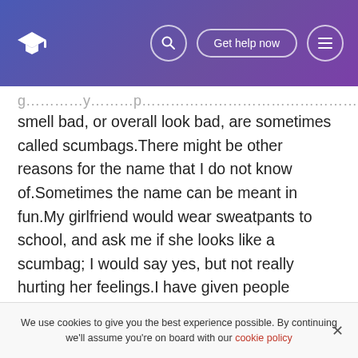Get help now
smell bad, or overall look bad, are sometimes called scumbags.There might be other reasons for the name that I do not know of.Sometimes the name can be meant in fun.My girlfriend would wear sweatpants to school, and ask me if she looks like a scumbag; I would say yes, but not really hurting her feelings.I have given people insulting nicknames such as:fatty, bitch, slut, loser, fag, nigger, and stupid.Granted, I have said some of these behind a person's back, but other times in front of them to hurt or belittle them.
We use cookies to give you the best experience possible. By continuing we'll assume you're on board with our cookie policy